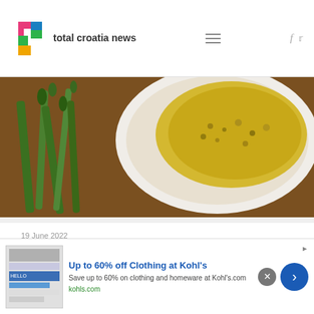[Figure (logo): Total Croatia News logo with colorful C shape and text]
[Figure (photo): Food photo showing asparagus and a plate with a yellow herb-topped dish, Istrian cuisine]
19 June 2022
10 Istrian Gourmet Specialities Not to Miss
Subscribe To Our
[Figure (screenshot): Advertisement banner: Up to 60% off Clothing at Kohl's - Save up to 60% on clothing and homeware at Kohl's.com - kohls.com]